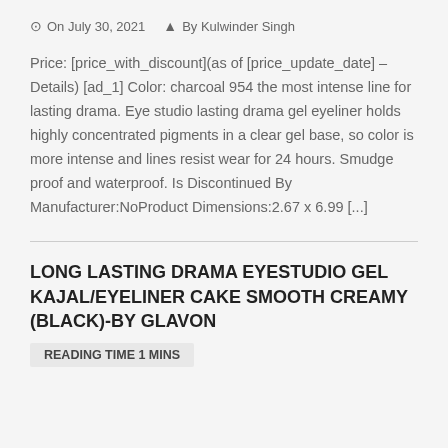On July 30, 2021  By Kulwinder Singh
Price: [price_with_discount](as of [price_update_date] – Details) [ad_1] Color: charcoal 954 the most intense line for lasting drama. Eye studio lasting drama gel eyeliner holds highly concentrated pigments in a clear gel base, so color is more intense and lines resist wear for 24 hours. Smudge proof and waterproof. Is Discontinued By Manufacturer:NoProduct Dimensions:2.67 x 6.99 [...]
LONG LASTING DRAMA EYESTUDIO GEL KAJAL/EYELINER CAKE SMOOTH CREAMY (BLACK)-BY GLAVON
READING TIME 1 MINS